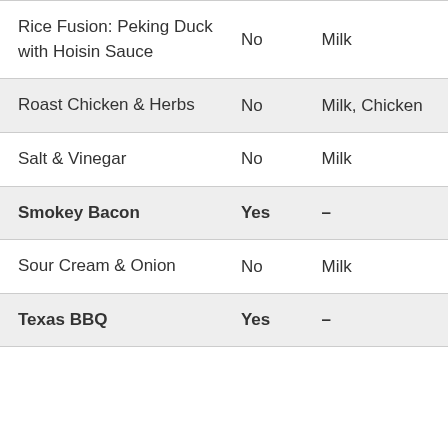| Product | Vegan | Allergens |
| --- | --- | --- |
| Rice Fusion: Peking Duck with Hoisin Sauce | No | Milk |
| Roast Chicken & Herbs | No | Milk, Chicken |
| Salt & Vinegar | No | Milk |
| Smokey Bacon | Yes | – |
| Sour Cream & Onion | No | Milk |
| Texas BBQ | Yes | – |